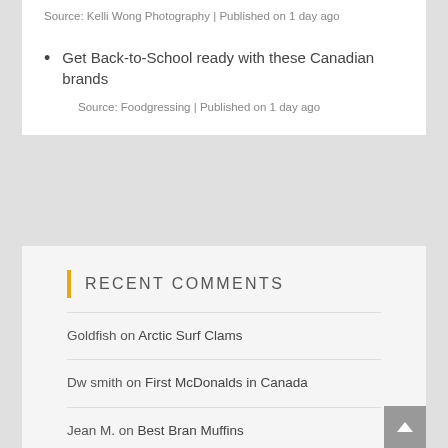Source: Kelli Wong Photography | Published on 1 day ago
Get Back-to-School ready with these Canadian brands
Source: Foodgressing | Published on 1 day ago
Recent Comments
Goldfish on Arctic Surf Clams
Dw smith on First McDonalds in Canada
Jean M. on Best Bran Muffins
Sandy on Best Bran Muffins
Daryl Shim on Sunlock Garden Restaurant on Fraser and East 27th Ave, Vancouver
Tiffany Strauss on KL 2017 Dinner at Hai Boey Seafood Restaurant